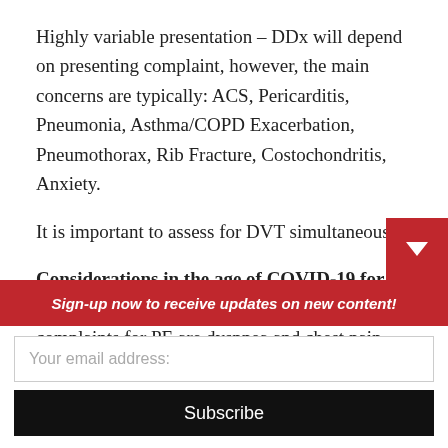Highly variable presentation – DDx will depend on presenting complaint, however, the main concerns are typically: ACS, Pericarditis, Pneumonia, Asthma/COPD Exacerbation, Pneumothorax, Rib Fracture, Costochondritis, Anxiety.
It is important to assess for DVT simultaneously.
Considerations in the age of COVID-19 for your safety:
The most common presenting complaints for PE are dyspnea and chest pain, both of which have been commonly observed in COVID-19 patients. Take
Sign-up now to receive updates on new content!
Your email address:
Subscribe